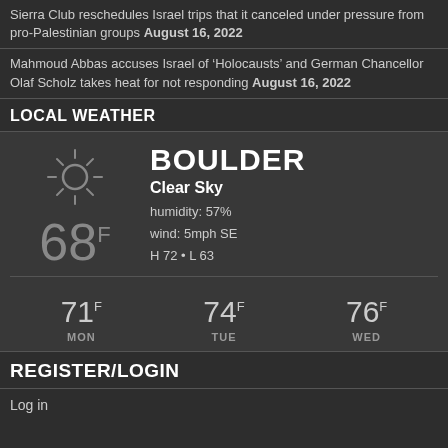Sierra Club reschedules Israel trips that it canceled under pressure from pro-Palestinian groups August 16, 2022
Mahmoud Abbas accuses Israel of ‘Holocausts’ and German Chancellor Olaf Scholz takes heat for not responding August 16, 2022
LOCAL WEATHER
[Figure (infographic): Weather widget showing Boulder, Clear Sky, 68F, humidity 57%, wind 5mph SE, H 72 L 63, with sun icon]
71F MON  74F TUE  76F WED
REGISTER/LOGIN
Log in